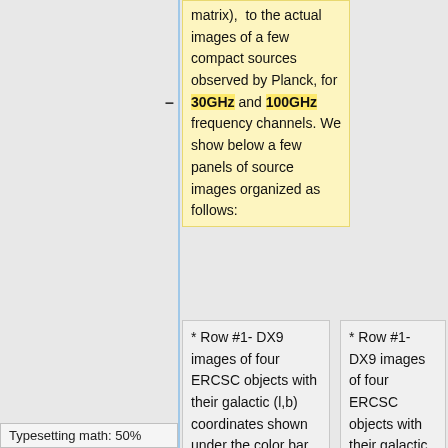matrix), to the actual images of a few compact sources observed by Planck, for 30GHz and 100GHz frequency channels. We show below a few panels of source images organized as follows:
* Row #1- DX9 images of four ERCSC objects with their galactic (l,b) coordinates shown under the color bar
* Row #1- DX9 images of four ERCSC objects with their galactic (l,b) coordinates shown under the color bar
Typesetting math: 50%